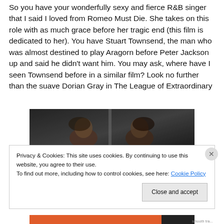So you have your wonderfully sexy and fierce R&B singer that I said I loved from Romeo Must Die. She takes on this role with as much grace before her tragic end (this film is dedicated to her). You have Stuart Townsend, the man who was almost destined to play Aragorn before Peter Jackson up and said he didn't want him. You may ask, where have I seen Townsend before in a similar film? Look no further than the suave Dorian Gray in The League of Extraordinary
[Figure (photo): A dark photograph showing two people with dark hair, partially visible, with dramatic lighting]
Privacy & Cookies: This site uses cookies. By continuing to use this website, you agree to their use.
To find out more, including how to control cookies, see here: Cookie Policy
Close and accept